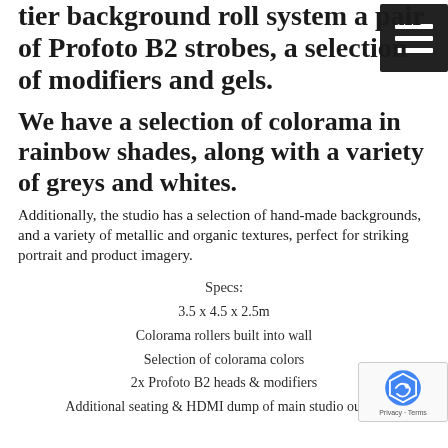tier background roll system a pair of Profoto B2 strobes, a selection of modifiers and gels.
We have a selection of colorama in rainbow shades, along with a variety of greys and whites.
Additionally, the studio has a selection of hand-made backgrounds, and a variety of metallic and organic textures, perfect for striking portrait and product imagery.
Specs:
3.5 x 4.5 x 2.5m
Colorama rollers built into wall
Selection of colorama colors
2x Profoto B2 heads & modifiers
Additional seating & HDMI dump of main studio output
[Figure (other): Menu/hamburger icon button, dark background with three white horizontal lines]
[Figure (other): reCAPTCHA widget showing the recaptcha logo and Privacy - Terms text]